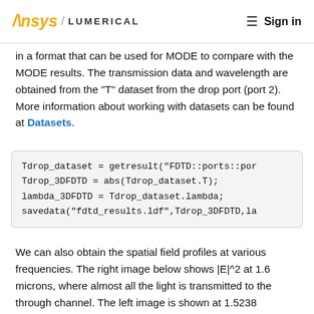Ansys / LUMERICAL  ≡  Sign in
in a format that can be used for MODE to compare with the MODE results. The transmission data and wavelength are obtained from the "T" dataset from the drop port (port 2). More information about working with datasets can be found at Datasets.
Tdrop_dataset = getresult("FDTD::ports::por
Tdrop_3DFDTD = abs(Tdrop_dataset.T);
lambda_3DFDTD = Tdrop_dataset.lambda;
savedata("fdtd_results.ldf",Tdrop_3DFDTD,la
We can also obtain the spatial field profiles at various frequencies.  The right image below shows |E|^2 at 1.6 microns, where almost all the light is transmitted to the through channel.  The left image is shown at 1.5238 microns, where we begin to see light resonate more strongly